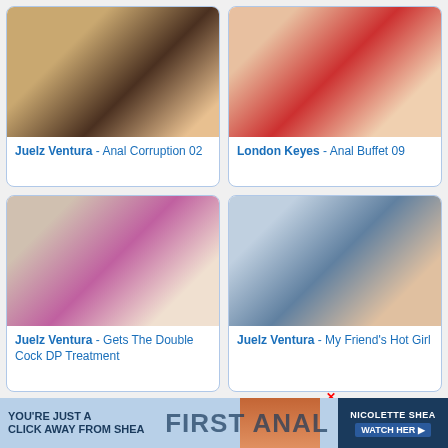[Figure (photo): Blonde woman on dark leather surface]
Juelz Ventura - Anal Corruption 02
[Figure (photo): Two women in red outfits on white bed]
London Keyes - Anal Buffet 09
[Figure (photo): Tattooed blonde woman in pink bikini]
Juelz Ventura - Gets The Double Cock DP Treatment
[Figure (photo): Woman in red dress sitting on bed with man standing]
Juelz Ventura - My Friend's Hot Girl
YOU'RE JUST A CLICK AWAY FROM SHEA
FIRST ANAL
NICOLETTE SHEA WATCH HER